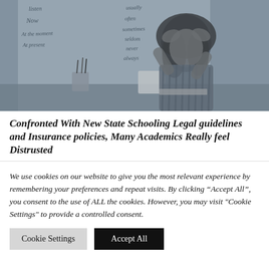[Figure (photo): Black and white photo of a stressed female teacher or student sitting at a desk with her head in her hands, in front of a whiteboard with handwritten words including 'listen', 'Now', 'At the moment', 'At present', 'usually', 'often', 'sometimes', 'seldom', 'never', 'always'. Pencils in a cup and a mug are visible on the desk.]
Confronted With New State Schooling Legal guidelines and Insurance policies, Many Academics Really feel Distrusted
We use cookies on our website to give you the most relevant experience by remembering your preferences and repeat visits. By clicking “Accept All”, you consent to the use of ALL the cookies. However, you may visit "Cookie Settings" to provide a controlled consent.
Cookie Settings | Accept All